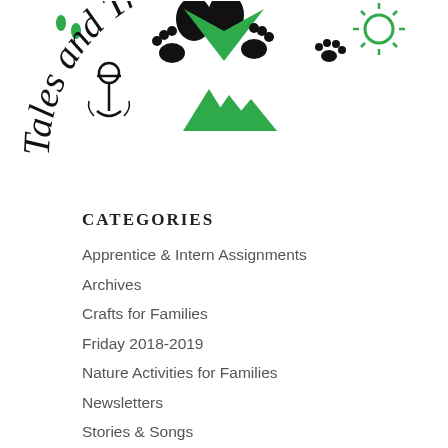[Figure (logo): Tales and Trails logo with curved text 'Tales and Trails', black bear paws, green mountain peaks, anchor, sun, and drip symbols]
CATEGORIES
Apprentice & Intern Assignments
Archives
Crafts for Families
Friday 2018-2019
Nature Activities for Families
Newsletters
Stories & Songs
Tues/Thurs 2018-2019